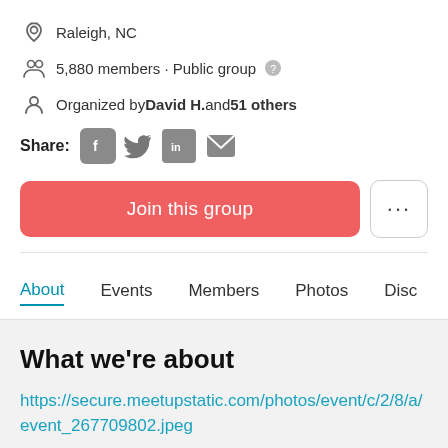Raleigh, NC
5,880 members · Public group
Organized by David H. and 51 others
Share:
[Figure (screenshot): Join this group button (red/coral) and more options button (...)]
About  Events  Members  Photos  Disc
What we're about
https://secure.meetupstatic.com/photos/event/c/2/8/a/event_267709802.jpeg
ATTENTION: Please read and act to help preserve RDUforest: